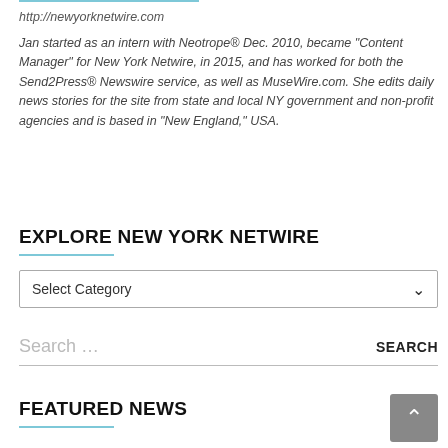http://newyorknetwire.com
Jan started as an intern with Neotrope® Dec. 2010, became "Content Manager" for New York Netwire, in 2015, and has worked for both the Send2Press® Newswire service, as well as MuseWire.com. She edits daily news stories for the site from state and local NY government and non-profit agencies and is based in "New England," USA.
EXPLORE NEW YORK NETWIRE
Select Category
Search …
FEATURED NEWS